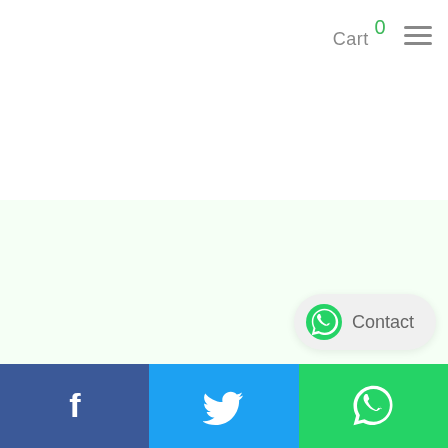Cart 0
[Figure (screenshot): Light green empty content area]
[Figure (other): WhatsApp Contact button with green WhatsApp icon and text 'Contact']
Facebook | Twitter | WhatsApp social share footer bar